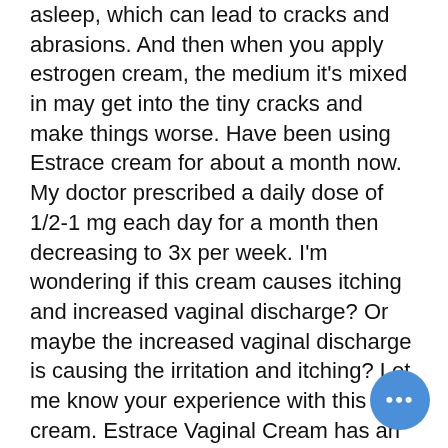asleep, which can lead to cracks and abrasions. And then when you apply estrogen cream, the medium it's mixed in may get into the tiny cracks and make things worse. Have been using Estrace cream for about a month now. My doctor prescribed a daily dose of 1/2-1 mg each day for a month then decreasing to 3x per week. I'm wondering if this cream causes itching and increased vaginal discharge? Or maybe the increased vaginal discharge is causing the irritation and itching? Let me know your experience with this cream. Estrace Vaginal Cream has an average rating of 6.5 out of 10 from a total of 53 ratings for the treatment of Atrophic Vaginitis. 53% of reviewers reported a positive experience, while 25% reported a negative experience. Filter condition Estrace Vaginal Cream Rating Summary average rating 53 ratings from
[Figure (other): Blue circular floating action button with three white dots (ellipsis menu icon) in the bottom right corner]